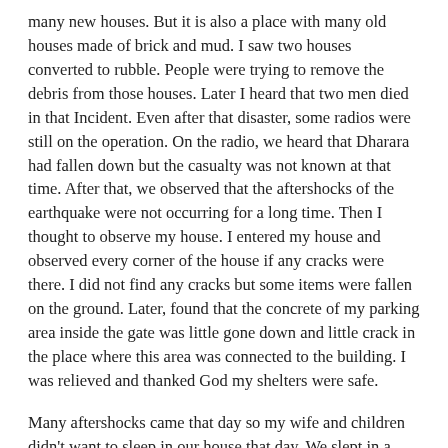many new houses. But it is also a place with many old houses made of brick and mud. I saw two houses converted to rubble. People were trying to remove the debris from those houses. Later I heard that two men died in that Incident. Even after that disaster, some radios were still on the operation. On the radio, we heard that Dharara had fallen down but the casualty was not known at that time. After that, we observed that the aftershocks of the earthquake were not occurring for a long time. Then I thought to observe my house. I entered my house and observed every corner of the house if any cracks were there. I did not find any cracks but some items were fallen on the ground. Later, found that the concrete of my parking area inside the gate was little gone down and little crack in the place where this area was connected to the building. I was relieved and thanked God my shelters were safe.
Many aftershocks came that day so my wife and children didn't want to sleep in our house that day. We slept in a nearby hut constructed by GI sheets. That day we felt a lot of shocks in the night. Many news came on the radio giving the number of casualties. The electricity lines had stopped providing the electricity but Nepal telecom's telephone was working even though we had to dial for a lot of time. My world link's Internet